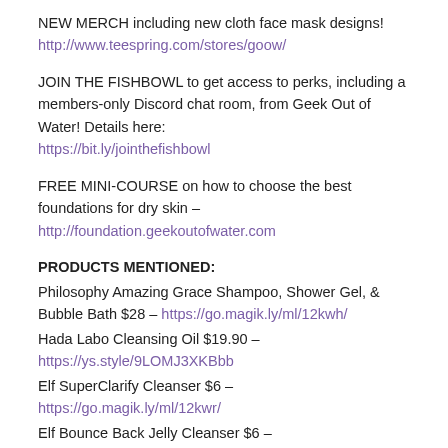NEW MERCH including new cloth face mask designs!
http://www.teespring.com/stores/goow/
JOIN THE FISHBOWL to get access to perks, including a members-only Discord chat room, from Geek Out of Water! Details here:
https://bit.ly/jointhefishbowl
FREE MINI-COURSE on how to choose the best foundations for dry skin – http://foundation.geekoutofwater.com
PRODUCTS MENTIONED:
Philosophy Amazing Grace Shampoo, Shower Gel, & Bubble Bath $28 – https://go.magik.ly/ml/12kwh/
Hada Labo Cleansing Oil $19.90 – https://ys.style/9LOMJ3XKBbb
Elf SuperClarify Cleanser $6 – https://go.magik.ly/ml/12kwr/
Elf Bounce Back Jelly Cleanser $6 – https://go.magik.ly/ml/12kwt/